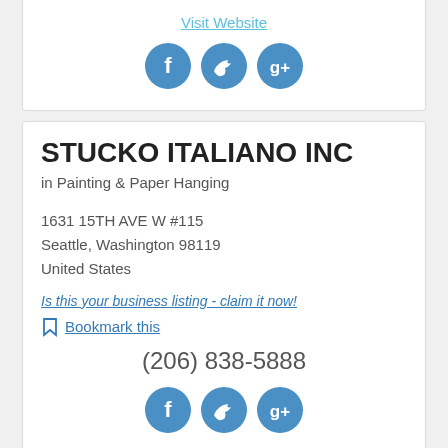Visit Website
[Figure (illustration): Three social media icons: Facebook (f), Twitter (bird), Google+ (g+), all in blue circles]
STUCKO ITALIANO INC
in Painting & Paper Hanging
1631 15TH AVE W #115
Seattle, Washington 98119
United States
Is this your business listing - claim it now!
Bookmark this
(206) 838-5888
[Figure (illustration): Three social media icons: Facebook (f), Twitter (bird), Google+ (g+), all in blue circles]
KENNEDY PAINTING & DESIGN